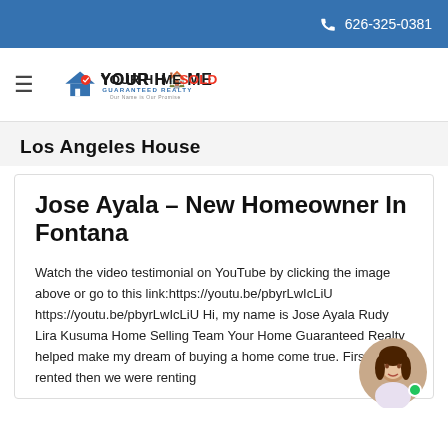626-325-0381
[Figure (logo): Your Home Sold Guaranteed Realty logo with house icon and tagline 'Our Name is Our Promise']
Los Angeles House
Jose Ayala – New Homeowner In Fontana
Watch the video testimonial on YouTube by clicking the image above or go to this link:https://youtu.be/pbyrLwIcLiU https://youtu.be/pbyrLwIcLiU Hi, my name is Jose Ayala Rudy Lira Kusuma Home Selling Team Your Home Guaranteed Realty helped make my dream of buying a home come true. First, we rented then we were renting